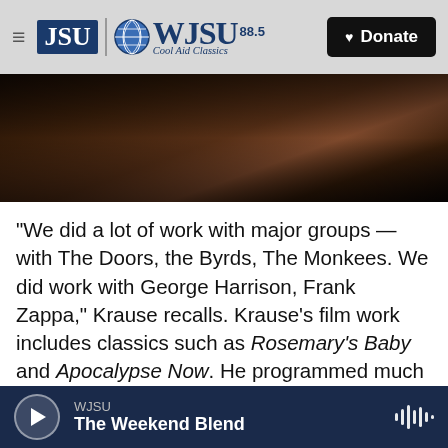JSU | WJSU 88.5 Cool Aid Classics — Donate
[Figure (photo): Dark photo of a person at a keyboard/mixing console]
"We did a lot of work with major groups — with The Doors, the Byrds, The Monkees. We did work with George Harrison, Frank Zappa," Krause recalls. Krause's film work includes classics such as Rosemary's Baby and Apocalypse Now. He programmed much of the latter's score and worked on its memorable "Ride of the Valkyries" scene. "Shirley Walker actually played the keyboard. I'm not a great keyboardist," he says.
WJSU — The Weekend Blend